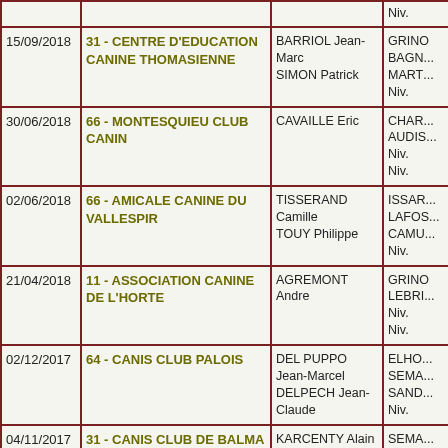| Date | Club | Juges | Résultats |
| --- | --- | --- | --- |
|  |  |  | Niv. |
| 15/09/2018 | 31 - CENTRE D'EDUCATION CANINE THOMASIENNE | BARRIOL Jean-Marc
SIMON Patrick | GRIN...
BAGN...
MART...
Niv. |
| 30/06/2018 | 66 - MONTESQUIEU CLUB CANIN | CAVAILLE Eric | CHAR...
AUDIS...
Niv.
Niv. |
| 02/06/2018 | 66 - AMICALE CANINE DU VALLESPIR | TISSERAND Camille
TOUY Philippe | ISSAR...
LAFOS...
CAMU...
Niv. |
| 21/04/2018 | 11 - ASSOCIATION CANINE DE L'HORTE | AGREMONT Andre | GRIN...
LEBRI...
Niv.
Niv. |
| 02/12/2017 | 64 - CANIS CLUB PALOIS | DEL PUPPO Jean-Marcel
DELPECH Jean-Claude | ELHO...
SEMA...
SAND...
Niv. |
| 04/11/2017 | 31 - CANIS CLUB DE BALMA | KARCENTY Alain | SEMA...
SAINZ...
LEBRI...
Niv. |
| 28/10/2017 | 32 - CLUB D'EDUCATION CANINE DE L'ISLE D'ARNE-LUSSAN | BRUEL Jean-Claude | DUCR...
BONN...
FAUC...
Niv. |
|  |  |  | HERM... |